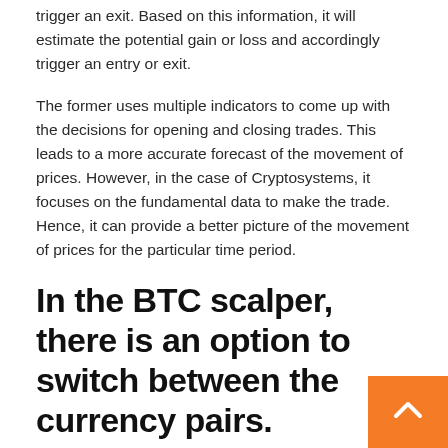trigger an exit. Based on this information, it will estimate the potential gain or loss and accordingly trigger an entry or exit.
The former uses multiple indicators to come up with the decisions for opening and closing trades. This leads to a more accurate forecast of the movement of prices. However, in the case of Cryptosystems, it focuses on the fundamental data to make the trade. Hence, it can provide a better picture of the movement of prices for the particular time period.
In the BTC scalper, there is an option to switch between the currency pairs.
In other words, one can be an exchange player and simultaneously be a scalper. It can be risky to be